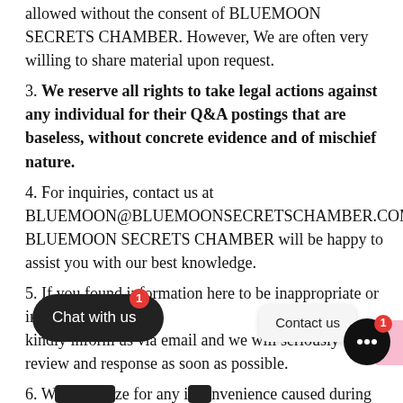allowed without the consent of BLUEMOON SECRETS CHAMBER. However, We are often very willing to share material upon request.
3. We reserve all rights to take legal actions against any individual for their Q&A postings that are baseless, without concrete evidence and of mischief nature.
4. For inquiries, contact us at BLUEMOON@BLUEMOONSECRETSCHAMBER.COM BLUEMOON SECRETS CHAMBER will be happy to assist you with our best knowledge.
5. If you found information here to be inappropriate or inaccurate, kindly inform us via email and we will seriously review and response as soon as possible.
6. We apologize for any inconvenience caused during the process and seek your kind understanding.
7. BLUEMOON SECRETS CHAMBER remains committed